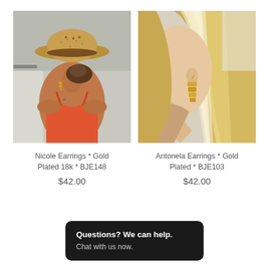[Figure (photo): Woman with straw hat seen from behind wearing red spaghetti strap top, gold dangle earrings visible near neck, outdoor setting]
[Figure (photo): Close-up of blonde woman's ear wearing gold stacked rectangular dangle earrings, hair flowing]
Nicole Earrings * Gold Plated 18k * BJE148
$42.00
Antonela Earrings * Gold Plated * BJE103
$42.00
Questions? We can help.
Chat with us now.